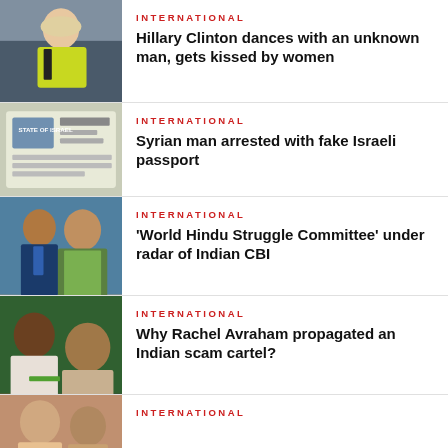[Figure (photo): Woman with blonde hair wearing yellow-green jacket seated]
INTERNATIONAL
Hillary Clinton dances with an unknown man, gets kissed by women
[Figure (photo): State of Israel passport document]
INTERNATIONAL
Syrian man arrested with fake Israeli passport
[Figure (photo): Two people, man in blue suit and woman in green sari]
INTERNATIONAL
‘World Hindu Struggle Committee’ under radar of Indian CBI
[Figure (photo): Two people smiling, man and woman]
INTERNATIONAL
Why Rachel Avraham propagated an Indian scam cartel?
[Figure (photo): Person in colorful clothing]
INTERNATIONAL